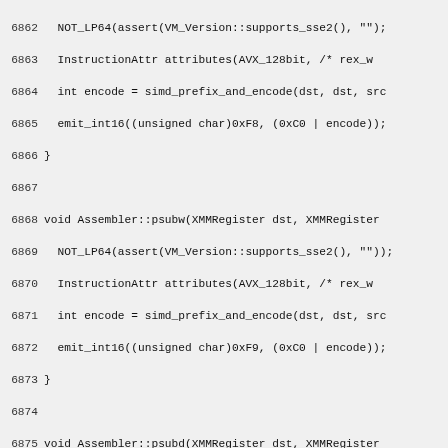Source code listing lines 6862-6892, C++ assembler methods for SIMD instructions including psubw, psubd, psubq, vpsubusb
[Figure (screenshot): C++ source code showing assembler methods for SIMD subtract instructions (psubw, psubd, psubq, vpsubusb) with line numbers 6862-6892]